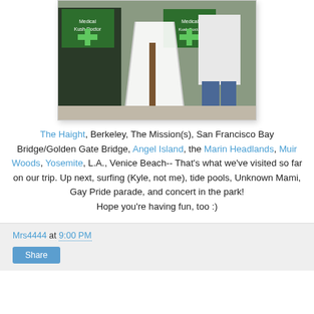[Figure (photo): Photo of a person in a white lab coat standing in front of a 'Medical Kush Doctor' storefront with green cross signs and a white A-frame sign on the sidewalk.]
The Haight, Berkeley, The Mission(s), San Francisco Bay Bridge/Golden Gate Bridge, Angel Island, the Marin Headlands, Muir Woods, Yosemite, L.A., Venice Beach-- That's what we've visited so far on our trip. Up next, surfing (Kyle, not me), tide pools, Unknown Mami, Gay Pride parade, and concert in the park! Hope you're having fun, too :)
Mrs4444 at 9:00 PM  Share